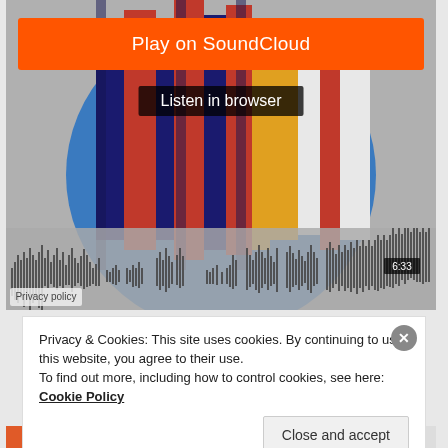[Figure (screenshot): SoundCloud embedded player widget showing artwork of colorful vertical bars (red, blue, gold, white) with a waveform at the bottom. Orange 'Play on SoundCloud' button at top, dark 'Listen in browser' button below it. Time label '6:33' at bottom right of waveform. 'Privacy policy' tag at bottom left.]
Play on SoundCloud
Listen in browser
6:33
Privacy policy
Privacy & Cookies: This site uses cookies. By continuing to use this website, you agree to their use.
To find out more, including how to control cookies, see here: Cookie Policy
Close and accept